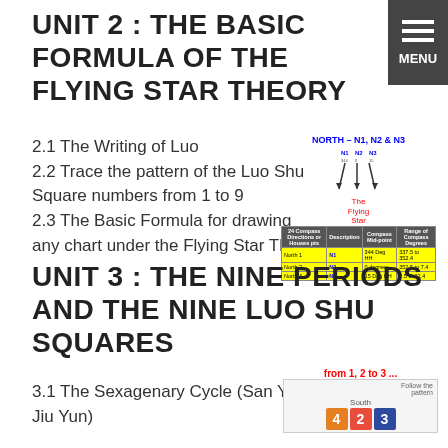UNIT 2 : THE BASIC FORMULA OF THE FLYING STAR THEORY
2.1 The Writing of Luo
2.2 Trace the pattern of the Luo Shu Square numbers from 1 to 9
2.3 The Basic Formula for drawing any chart under the Flying Star Theory
[Figure (table-as-image): Compass diagram showing NORTH - N1, N2 & N3 with flying star symbol and compass table with columns for 24 Compass Directions, Description, Compass Mid-point, Range of Compass Degrees. Rows: North 1 N1 344 Deg HH 337.5 to 352.4, North 2 N2 0 degrees 352.5 to 7.4, North 3 N3 15 Deg HH 7.5 to 22.4]
UNIT 3 : THE NINE PERIODS AND THE NINE LUO SHU SQUARES
3.1 The Sexagenary Cycle (San Yuan Jiu Yun)
[Figure (table-as-image): Diagram showing 'from 1, 2 to 3 ...' with Follow the pattern label and South label, showing numbers 4, 2, 3 in colored boxes (orange, red, blue)]